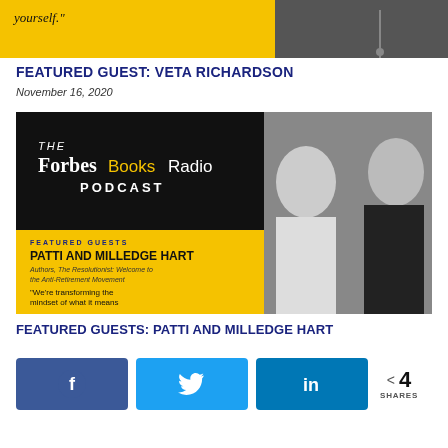[Figure (photo): Top partial image strip showing yellow background with quote text 'yourself.' and a person wearing a cross necklace on the right side]
FEATURED GUEST: VETA RICHARDSON
November 16, 2020
[Figure (photo): Forbes Books Radio Podcast promotional image featuring Patti and Milledge Hart, authors of The Resolutionist: Welcome to the Anti-Retirement Movement. Yellow and black design with headshots of a woman and man smiling. Quote: 'We're transforming the mindset of what it means to retire.']
FEATURED GUESTS: PATTI AND MILLEDGE HART
Social share buttons: Facebook, Twitter, LinkedIn with 4 SHARES